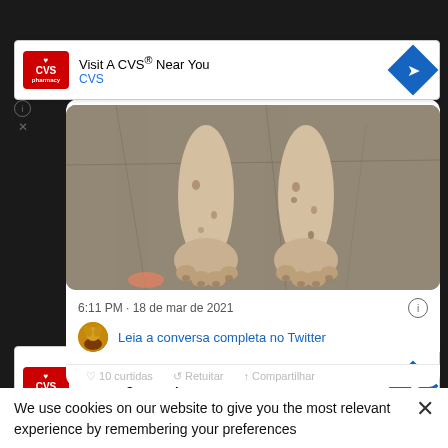[Figure (screenshot): Screenshot of a webpage showing a Twitter/social media embed with an advertisement banner for CVS Pharmacy ('Visit A CVS® Near You'), a photo of dog paws on sand/carpet, a timestamp '6:11 PM · 18 de mar de 2021', a link 'Leia a conversa completa no Twitter', partial action bar, a cookie consent notice, and a second CVS Pharmacy ad ('Save Big & Shop CVS® Items').]